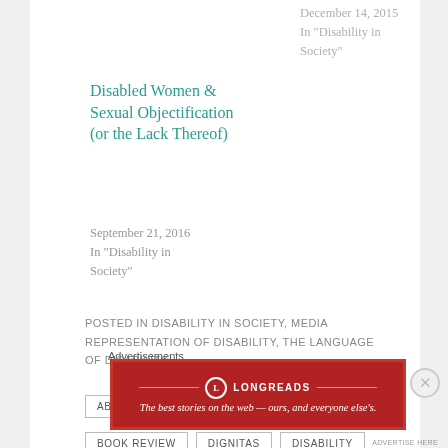December 14, 2015
In "Disability in Society"
Disabled Women & Sexual Objectification (or the Lack Thereof)
September 21, 2016
In "Disability in Society"
POSTED IN DISABILITY IN SOCIETY, MEDIA REPRESENTATION OF DISABILITY, THE LANGUAGE OF DISABILITY
ABLEISM
ACTIVISM
ASSISTED SUICIDE
BOOK REVIEW
DIGNITAS
DISABILITY
Advertisements
[Figure (infographic): Longreads advertisement banner: red background with Longreads logo and tagline 'The best stories on the web — ours, and everyone else's.']